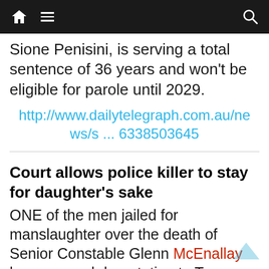Navigation bar with home icon, hamburger menu, and search icon
Sione Penisini, is serving a total sentence of 36 years and won't be eligible for parole until 2029.
http://www.dailytelegraph.com.au/news/s ... 6338503645
Court allows police killer to stay for daughter's sake
ONE of the men jailed for manslaughter over the death of Senior Constable Glenn McEnallay has escaped deportation to Tonga even though he has spent more than half of his 21 years in Australia in